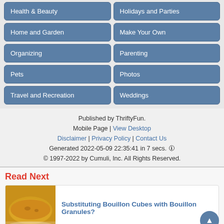Health & Beauty
Holidays and Parties
Home and Garden
Make Your Own
Organizing
Parenting
Pets
Photos
Travel and Recreation
Weddings
Published by ThriftyFun.
Mobile Page | View Desktop
Disclaimer | Privacy Policy | Contact Us
Generated 2022-05-09 22:35:41 in 7 secs.
© 1997-2022 by Cumuli, Inc. All Rights Reserved.
Read Next
[Figure (photo): Bowl of bouillon/broth soup]
Substituting Bouillon Cubes with Bouillon Granules?